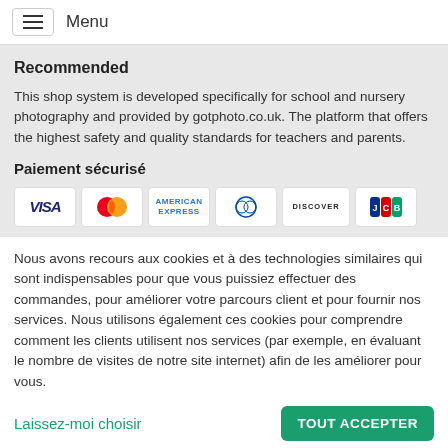Menu
Recommended
This shop system is developed specifically for school and nursery photography and provided by gotphoto.co.uk. The platform that offers the highest safety and quality standards for teachers and parents.
Paiement sécurisé
[Figure (other): Payment method logos: VISA, Mastercard, American Express, Diners Club, Discover, JCB]
Nous avons recours aux cookies et à des technologies similaires qui sont indispensables pour que vous puissiez effectuer des commandes, pour améliorer votre parcours client et pour fournir nos services. Nous utilisons également ces cookies pour comprendre comment les clients utilisent nos services (par exemple, en évaluant le nombre de visites de notre site internet) afin de les améliorer pour vous.
Laissez-moi choisir
TOUT ACCEPTER